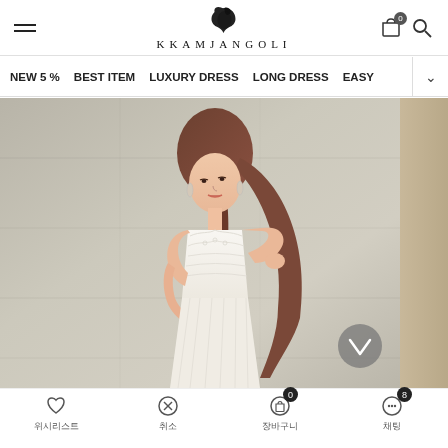KKAMJANGOLI - Navigation header with hamburger menu, logo, cart and search icons
NEW 5%  BEST ITEM  LUXURY DRESS  LONG DRESS  EASY
[Figure (photo): Fashion model wearing white lace sleeveless dress, holding a gold clutch, standing against concrete wall background. Right side shows tan/beige panel.]
위시리스트  취소  장바구니 (0)  채팅 (8)